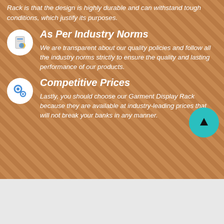Rack is that the design is highly durable and can withstand tough conditions, which justify its purposes.
As Per Industry Norms
We are transparent about our quality policies and follow all the industry norms strictly to ensure the quality and lasting performance of our products.
Competitive Prices
Lastly, you should choose our Garment Display Rack because they are available at industry-leading prices that will not break your banks in any manner.
[Figure (photo): Photo strip showing colorful garments or rack products in blue and yellow tones]